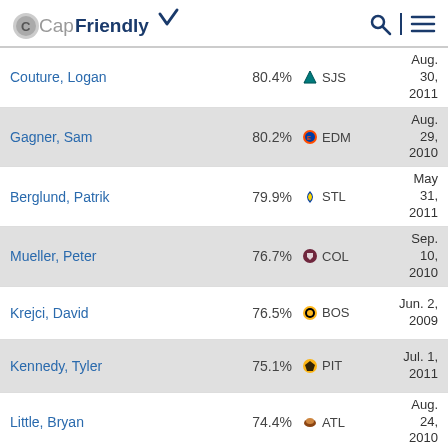CapFriendly
| Player | Pct | Team | Date |
| --- | --- | --- | --- |
| Couture, Logan | 80.4% | SJS | Aug. 30, 2011 |
| Gagner, Sam | 80.2% | EDM | Aug. 29, 2010 |
| Berglund, Patrik | 79.9% | STL | May 31, 2011 |
| Mueller, Peter | 76.7% | COL | Sep. 10, 2010 |
| Krejci, David | 76.5% | BOS | Jun. 2, 2009 |
| Kennedy, Tyler | 75.1% | PIT | Jul. 1, 2011 |
| Little, Bryan | 74.4% | ATL | Aug. 24, 2010 |
| Kostitsyn, Andrei | 74.3% | MTL | Jul. 1, 2008 |
| Tlusty, Jiri | 73.0% | CAR | Apr. 23, 2012 |
| Wilson, Colin | 72.8% | NSH | Jul. 24, 2012 |